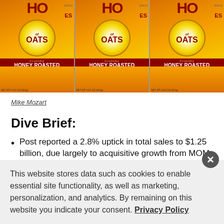[Figure (photo): Three Honey Bunches of Oats Crunchy Honey Roasted cereal boxes displayed side by side against a gray background]
Mike Mozart
Dive Brief:
Post reported a 2.8% uptick in total sales to $1.25 billion, due largely to acquisitive growth from MOM
This website stores data such as cookies to enable essential site functionality, as well as marketing, personalization, and analytics. By remaining on this website you indicate your consent. Privacy Policy